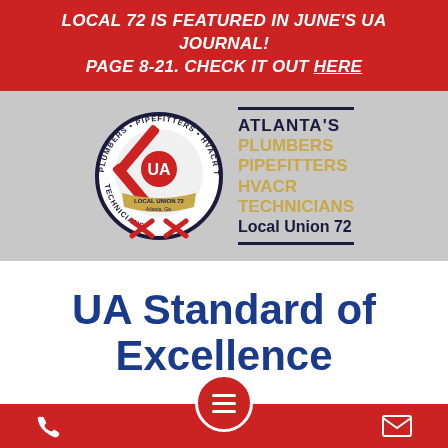LOCAL 72 IS FEATURED IN JUNE'S UA JOURNAL! PAGE 8-21. CHECK IT OUT HERE
[Figure (logo): UA Local Union 72 circular badge with Plumbers, Pipefitters, HVACR Technicians text around edge, with tools and UA emblem in center. Beside it: Atlanta's Plumbers Pipefitters HVACR Technicians Local Union 72 text block with navy borders.]
UA Standard of Excellence
MEMBER AND LOCAL UNION RESPONSIBILIT...
Phone icon | Hamburger menu | Email icon